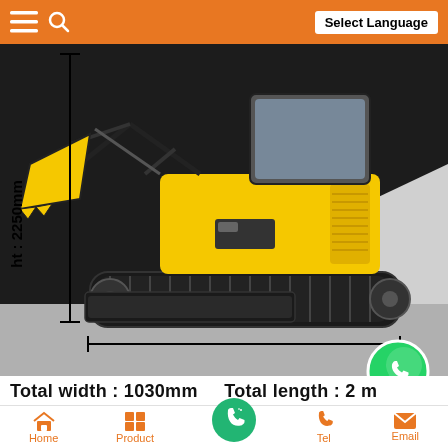Select Language
[Figure (photo): Mini excavator (yellow/black) shown with dimension lines indicating total height 2250mm. Machine has rubber tracks, front blade, hydraulic arm with bucket, and cab. Measurement lines overlay the image.]
Total width : 1030mm    Total length : 2[partially obscured]m
| Brand: | Rippa | argest traction: | 700KG |
| --- | --- | --- | --- |
Home  Product  Tel  Email